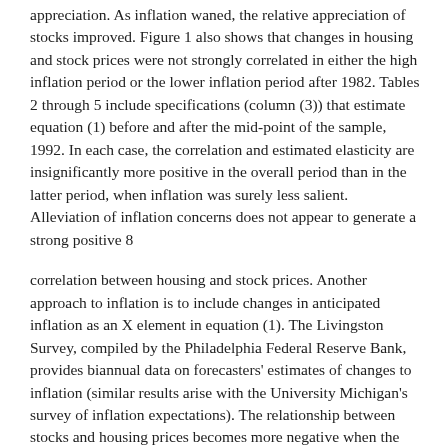appreciation. As inflation waned, the relative appreciation of stocks improved. Figure 1 also shows that changes in housing and stock prices were not strongly correlated in either the high inflation period or the lower inflation period after 1982. Tables 2 through 5 include specifications (column (3)) that estimate equation (1) before and after the mid-point of the sample, 1992. In each case, the correlation and estimated elasticity are insignificantly more positive in the overall period than in the latter period, when inflation was surely less salient. Alleviation of inflation concerns does not appear to generate a strong positive 8
correlation between housing and stock prices. Another approach to inflation is to include changes in anticipated inflation as an X element in equation (1). The Livingston Survey, compiled by the Philadelphia Federal Reserve Bank, provides biannual data on forecasters' estimates of changes to inflation (similar results arise with the University Michigan's survey of inflation expectations). The relationship between stocks and housing prices becomes more negative when the controls X are introduced.3 More generally, changes to tax law are bound to generate a relative preference for housing or stock in household portfolios. To explore whether major changes in federal tax laws have driven the negative